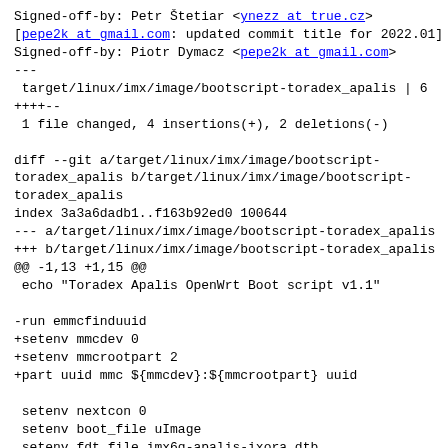Signed-off-by: Petr Štetiar <ynezz at true.cz>
[pepe2k at gmail.com: updated commit title for 2022.01]
Signed-off-by: Piotr Dymacz <pepe2k at gmail.com>
---
 target/linux/imx/image/bootscript-toradex_apalis | 6
++++--
 1 file changed, 4 insertions(+), 2 deletions(-)

diff --git a/target/linux/imx/image/bootscript-toradex_apalis b/target/linux/imx/image/bootscript-toradex_apalis
index 3a3a6dadb1..f163b92ed0 100644
--- a/target/linux/imx/image/bootscript-toradex_apalis
+++ b/target/linux/imx/image/bootscript-toradex_apalis
@@ -1,13 +1,15 @@
 echo "Toradex Apalis OpenWrt Boot script v1.1"

-run emmcfinduuid
+setenv mmcdev 0
+setenv mmcrootpart 2
+part uuid mmc ${mmcdev}:${mmcrootpart} uuid

 setenv nextcon 0
 setenv boot_file uImage
 setenv fdt_file imx6q-apalis-ixora.dtb
 setenv root root=PARTUUID=${uuid} rootfstype=squashfs rootwait
 setenv bootargs earlyprintk
console=${console},${baudrate}n8 ${root}